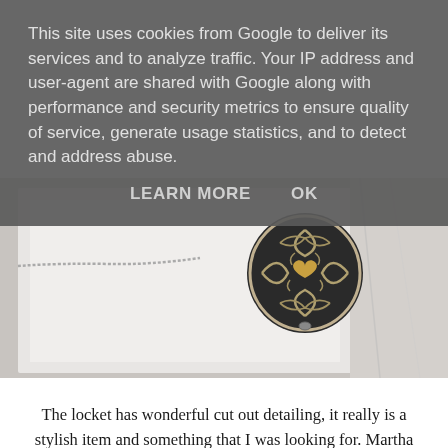This site uses cookies from Google to deliver its services and to analyze traffic. Your IP address and user-agent are shared with Google along with performance and security metrics to ensure quality of service, generate usage statistics, and to detect and address abuse.
LEARN MORE   OK
[Figure (photo): Close-up photo of a decorative silver locket with filigree cut-out detailing and a golden heart accent in the center, resting in a white gift box on a marble surface with a silver chain visible.]
The locket has wonderful cut out detailing, it really is a stylish item and something that I was looking for. Martha Jackson give you plenty of options to really make this piece of jewellery unique to you or your recipient. Firstly, there is the option to have the locket engraved. I had ‘Forever Begins 01/12/2018’ put onto the back of